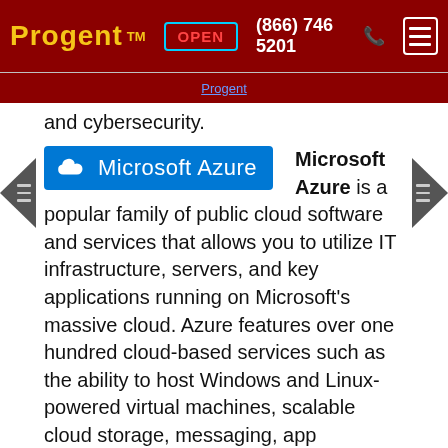Progent ™  OPEN  (866) 746 5201
Progent
and cybersecurity.
[Figure (logo): Microsoft Azure logo: blue rectangle with cloud icon and white text 'Microsoft Azure']
Microsoft Azure is a popular family of public cloud software and services that allows you to utilize IT infrastructure, servers, and key applications running on Microsoft's massive cloud. Azure features over one hundred cloud-based services such as the ability to host Windows and Linux-powered virtual machines, scalable cloud storage, messaging, app development with Visual Studio, and data backup. Progent can help your organization to deploy VMs on Azure Virtual Machines, integrate storage on Azure Storage services, unify identity management with Azure AD, and plan data backup and restore systems with